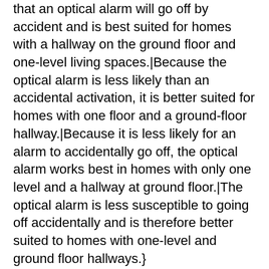that an optical alarm will go off by accident and is best suited for homes with a hallway on the ground floor and one-level living spaces.|Because the optical alarm is less likely than an accidental activation, it is better suited for homes with one floor and a ground-floor hallway.|Because it is less likely for an alarm to accidentally go off, the optical alarm works best in homes with only one level and a hallway at ground floor.|The optical alarm is less susceptible to going off accidentally and is therefore better suited to homes with one-level and ground floor hallways.}
{Both slow-burning and flameless fire suppression systems are recommended.|Since both flaming and slow-burning fire suppression systems are common, you should